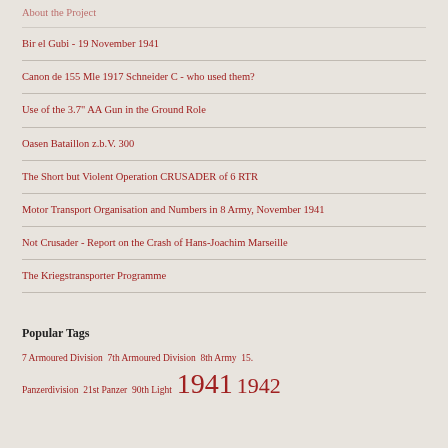About the Project
Bir el Gubi - 19 November 1941
Canon de 155 Mle 1917 Schneider C - who used them?
Use of the 3.7" AA Gun in the Ground Role
Oasen Bataillon z.b.V. 300
The Short but Violent Operation CRUSADER of 6 RTR
Motor Transport Organisation and Numbers in 8 Army, November 1941
Not Crusader - Report on the Crash of Hans-Joachim Marseille
The Kriegstransporter Programme
Popular Tags
7 Armoured Division 7th Armoured Division 8th Army 15. Panzerdivision 21st Panzer 90th Light 1941 1942